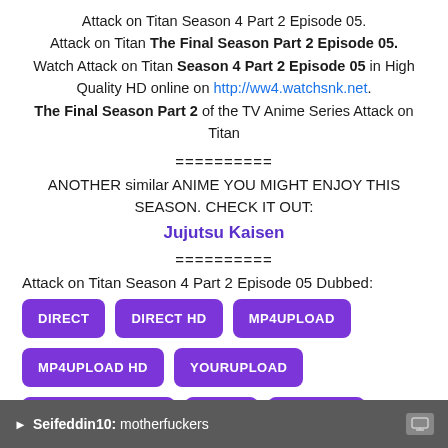Attack on Titan Season 4 Part 2 Episode 05. Attack on Titan The Final Season Part 2 Episode 05. Watch Attack on Titan Season 4 Part 2 Episode 05 in High Quality HD online on http://ww4.watchsnk.net. The Final Season Part 2 of the TV Anime Series Attack on Titan
==========
ANOTHER similar ANIME YOU MIGHT ENJOY THIS SEASON. CHECK IT OUT:
Jujutsu Kaisen
==========
Attack on Titan Season 4 Part 2 Episode 05 Dubbed:
DIRECT | DIRECT HD | MP4UPLOAD | MP4UPLOAD HD | YOURUPLOAD | YOURUPLOAD HD | DOOD | DOOD HD
Click here to Download Attack on Titan Season 4 Part 2
Seifeddin10: motherfuckers